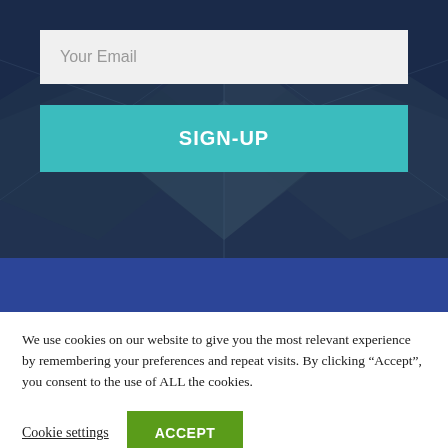[Figure (photo): Glass building facade viewed from below at an angle, with geometric triangular patterns, overlaid with a dark blue tint. Contains email sign-up form elements overlaid.]
Your Email
SIGN-UP
We use cookies on our website to give you the most relevant experience by remembering your preferences and repeat visits. By clicking “Accept”, you consent to the use of ALL the cookies.
Cookie settings
ACCEPT